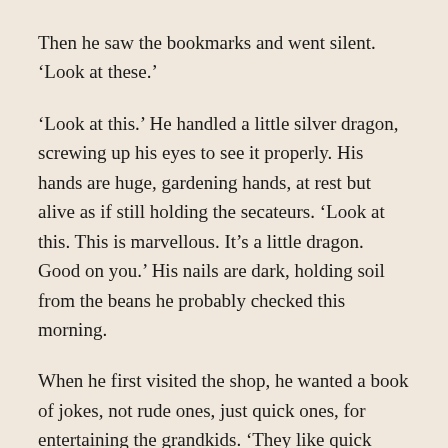Then he saw the bookmarks and went silent. ‘Look at these.’
‘Look at this.’ He handled a little silver dragon, screwing up his eyes to see it properly. His hands are huge, gardening hands, at rest but alive as if still holding the secateurs. ‘Look at this. This is marvellous. It’s a little dragon. Good on you.’ His nails are dark, holding soil from the beans he probably checked this morning.
When he first visited the shop, he wanted a book of jokes, not rude ones, just quick ones, for entertaining the grandkids. ‘They like quick jokes these days.’ When he spoke of his grandchildren, his eyes moistened and an orchard grew there.
Did they know? Those grandkids? If they don’t, in time they will. When he’s not there, and a small corner of warmth, tomatoes, the washing pegged carefully, the careful attention to